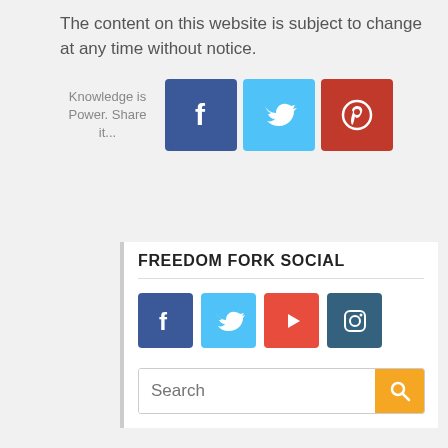The content on this website is subject to change at any time without notice.
Knowledge is Power. Share it...
[Figure (infographic): Social share icons: Facebook (blue), Twitter (light blue), Pinterest (red), large square buttons]
FREEDOM FORK SOCIAL
[Figure (infographic): Small social icons row: Facebook, Twitter, YouTube, Instagram]
Search